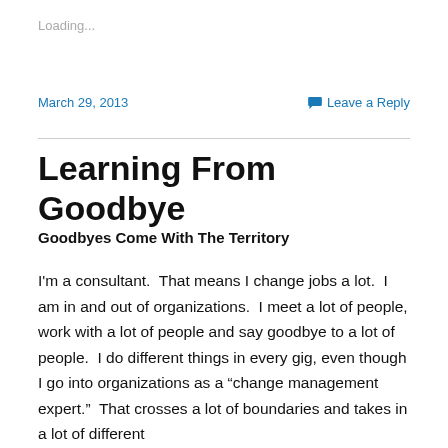Loading...
March 29, 2013
Leave a Reply
Learning From Goodbye
Goodbyes Come With The Territory
I'm a consultant.  That means I change jobs a lot.  I am in and out of organizations.  I meet a lot of people, work with a lot of people and say goodbye to a lot of people.  I do different things in every gig, even though I go into organizations as a “change management expert.”  That crosses a lot of boundaries and takes in a lot of different